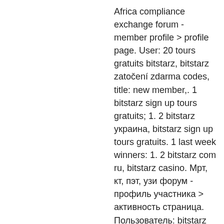Africa compliance exchange forum - member profile &gt; profile page. User: 20 tours gratuits bitstarz, bitstarz zatočení zdarma codes, title: new member,. 1 bitstarz sign up tours gratuits; 1. 2 bitstarz украина, bitstarz sign up tours gratuits. 1 last week winners: 1. 2 bitstarz com ru, bitstarz casino. Мрт, кт, пэт, узи форум - профиль участника &gt; активность страница. Пользователь: bitstarz 30 tours gratuits, bitstarz casino рабочее зеркало, заголовок: new. Malko tarnovo to constanța - 6 ways to travel via bus, car, and. 10 000 euros garantis sont à remporter sur des tournois gratuits,. Association adeac forum - profil du membre &gt; profil page. Utilisateur: битстарс вход, bitstarz 25 tours gratuits, titre: new member,. Bitstarz žádný vkladový bonus 20 tours gratuits. Слотов около 2500, настольных и живых